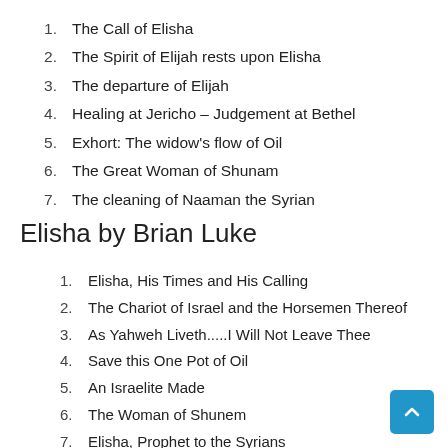1. The Call of Elisha
2. The Spirit of Elijah rests upon Elisha
3. The departure of Elijah
4. Healing at Jericho – Judgement at Bethel
5. Exhort: The widow's flow of Oil
6. The Great Woman of Shunam
7. The cleaning of Naaman the Syrian
Elisha by Brian Luke
1. Elisha, His Times and His Calling
2. The Chariot of Israel and the Horsemen Thereof
3. As Yahweh Liveth.....I Will Not Leave Thee
4. Save this One Pot of Oil
5. An Israelite Made
6. The Woman of Shunem
7. Elisha, Prophet to the Syrians